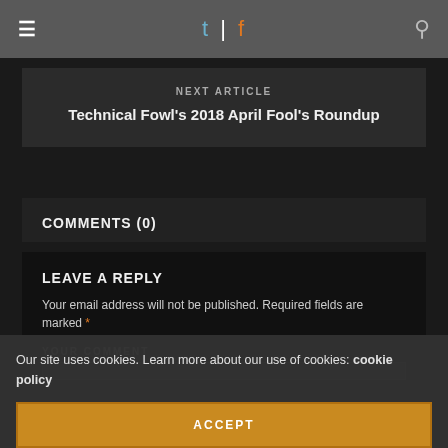t | f
NEXT ARTICLE
Technical Fowl's 2018 April Fool's Roundup
COMMENTS (0)
LEAVE A REPLY
Your email address will not be published. Required fields are marked *
YOUR COMMENT
Our site uses cookies. Learn more about our use of cookies: cookie policy
ACCEPT